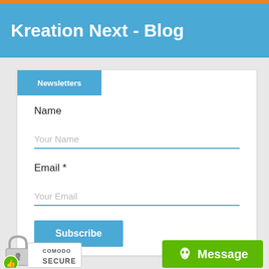Kreation Next - Blog
Newsletters
Name
Your Name
Email *
Your Email
Subscribe
[Figure (logo): Comodo Secure badge with padlock and thumbs-up icon]
Message